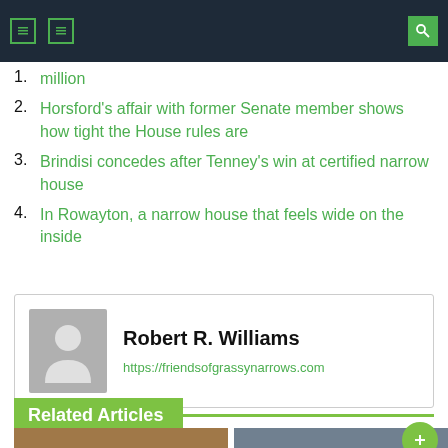navigation header with icons
1. million
2. Horsford's affair with former Senate member shows how tight the House rules are
3. Brindisi concedes after Tenney's win at certified narrow house
4. In Rowayton, a narrow house that feels wide on the inside
Robert R. Williams
https://friendsofgrassynarrows.com
Related Articles